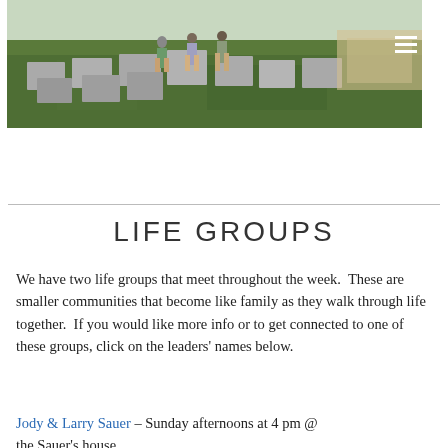[Figure (photo): Outdoor gathering area with people standing among modular concrete seating blocks on a green grass lawn.]
LIFE GROUPS
We have two life groups that meet throughout the week.  These are smaller communities that become like family as they walk through life together.  If you would like more info or to get connected to one of these groups, click on the leaders' names below.
Jody & Larry Sauer – Sunday afternoons at 4 pm @ the Sauer's house.